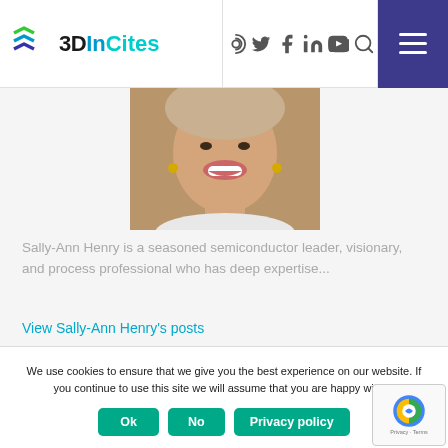3DInCites
[Figure (photo): Portrait photo of Sally-Ann Henry, a woman with short blonde/brown hair, smiling, cropped to show face and upper body]
Sally-Ann Henry is a seasoned semiconductor leader, visionary, and process professional who has deep expertise...
View Sally-Ann Henry's posts
RELATED CATEGORY POSTS
We use cookies to ensure that we give you the best experience on our website. If you continue to use this site we will assume that you are happy with it.